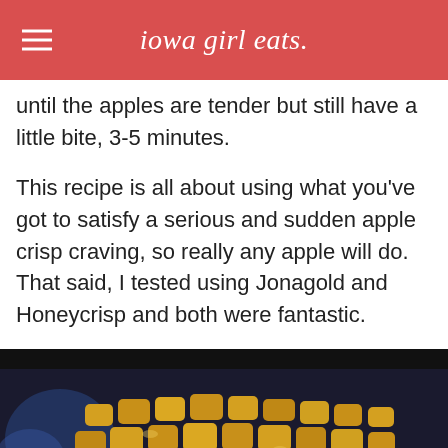iowa girl eats.
until the apples are tender but still have a little bite, 3-5 minutes.
This recipe is all about using what you've got to satisfy a serious and sudden apple crisp craving, so really any apple will do. That said, I tested using Jonagold and Honeycrisp and both were fantastic.
[Figure (photo): Caramelized apple chunks cooking in a dark cast iron skillet, golden-yellow in color with a caramel glaze, partial view of a white dish below.]